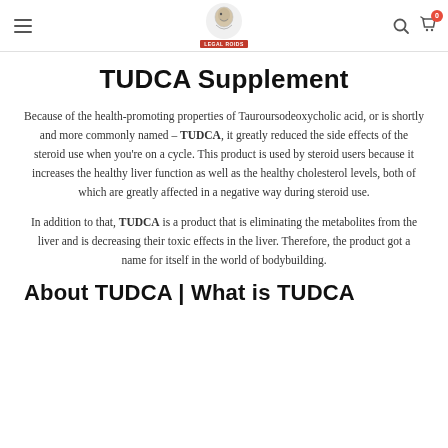LEGAL ROIDS — navigation header with logo
TUDCA Supplement
Because of the health-promoting properties of Tauroursodeoxycholic acid, or is shortly and more commonly named – TUDCA, it greatly reduced the side effects of the steroid use when you're on a cycle. This product is used by steroid users because it increases the healthy liver function as well as the healthy cholesterol levels, both of which are greatly affected in a negative way during steroid use.
In addition to that, TUDCA is a product that is eliminating the metabolites from the liver and is decreasing their toxic effects in the liver. Therefore, the product got a name for itself in the world of bodybuilding.
About TUDCA | What is TUDCA